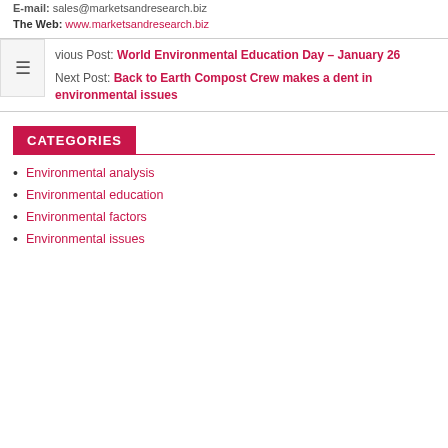E-mail: sales@marketsandresearch.biz
The Web: www.marketsandresearch.biz
Previous Post: World Environmental Education Day – January 26
Next Post: Back to Earth Compost Crew makes a dent in environmental issues
CATEGORIES
Environmental analysis
Environmental education
Environmental factors
Environmental issues